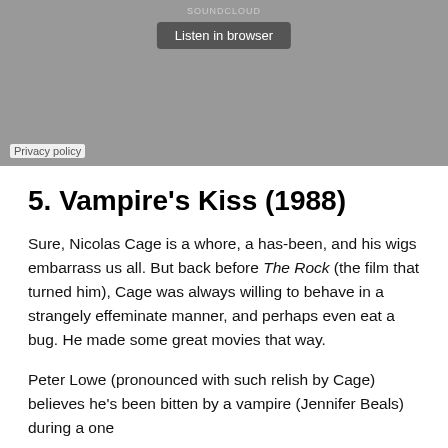[Figure (screenshot): SoundCloud embedded player with 'Listen in browser' button and 'Privacy policy' link, shown as a grey rectangle]
5. Vampire's Kiss (1988)
Sure, Nicolas Cage is a whore, a has-been, and his wigs embarrass us all. But back before The Rock (the film that turned him), Cage was always willing to behave in a strangely effeminate manner, and perhaps even eat a bug. He made some great movies that way.
Peter Lowe (pronounced with such relish by Cage) believes he's been bitten by a vampire (Jennifer Beals) during a one…